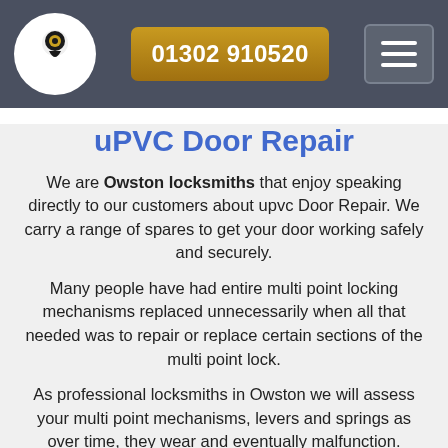[Figure (logo): Locksmith keyhole logo — white circle with a keyhole silhouette and a gold/yellow circular top]
01302 910520
[Figure (other): Hamburger menu icon — three horizontal white bars on a grey rounded rectangle]
uPVC Door Repair
We are Owston locksmiths that enjoy speaking directly to our customers about upvc Door Repair. We carry a range of spares to get your door working safely and securely.
Many people have had entire multi point locking mechanisms replaced unnecessarily when all that needed was to repair or replace certain sections of the multi point lock.
As professional locksmiths in Owston we will assess your multi point mechanisms, levers and springs as over time, they wear and eventually malfunction.
We can fix faulty door locking mechanism's in